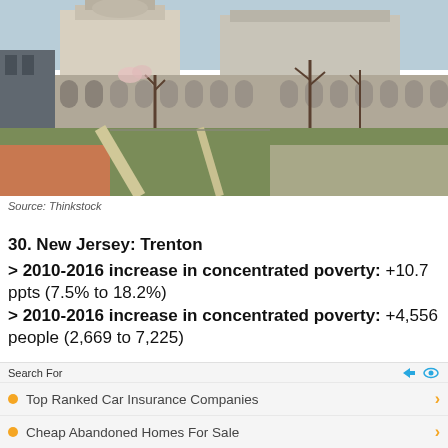[Figure (photo): Exterior photo of government buildings in Trenton, New Jersey. Shows neoclassical architecture with stone walls, arched windows, trees in winter, and paved walkways. Red clay/dirt area in foreground left.]
Source: Thinkstock
30. New Jersey: Trenton
> 2010-2016 increase in concentrated poverty: +10.7 ppts (7.5% to 18.2%)
> 2010-2016 increase in concentrated poverty: +4,556 people (2,669 to 7,225)
> 2010-2016 avg. annual GDP growth: +1.5%
Search For
Top Ranked Car Insurance Companies
Cheap Abandoned Homes For Sale